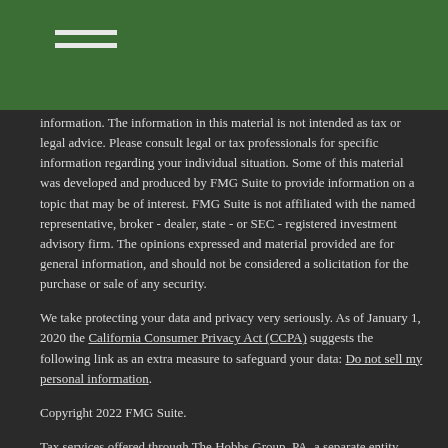information. The information in this material is not intended as tax or legal advice. Please consult legal or tax professionals for specific information regarding your individual situation. Some of this material was developed and produced by FMG Suite to provide information on a topic that may be of interest. FMG Suite is not affiliated with the named representative, broker - dealer, state - or SEC - registered investment advisory firm. The opinions expressed and material provided are for general information, and should not be considered a solicitation for the purchase or sale of any security.
We take protecting your data and privacy very seriously. As of January 1, 2020 the California Consumer Privacy Act (CCPA) suggests the following link as an extra measure to safeguard your data: Do not sell my personal information.
Copyright 2022 FMG Suite.
Tax services offered through The Hobbs Group, PA, a separate entity from Hobbs Group Advisors, LLC.
Securities offered through Triad Advisors, LLC., Member FINRA/SIPC. Advisory Services offered through Hobbs Group Advisors, LLC. Hobbs Group Advisors, LLC is not affiliated with Triad Advisors.